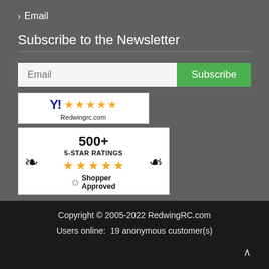> Email
Subscribe to the Newsletter
[Figure (screenshot): Email subscription form with a white text input labeled 'Email' and a green 'Subscribe' button]
[Figure (other): Yahoo Shopping 5-star badge for Redwingrc.com with five orange stars]
[Figure (other): Shopper Approved badge showing 500+ 5-Star Ratings with orange stars and laurel wreath]
Copyright © 2005-2022 RedwingRC.com
Users online:  19 anonymous customer(s)